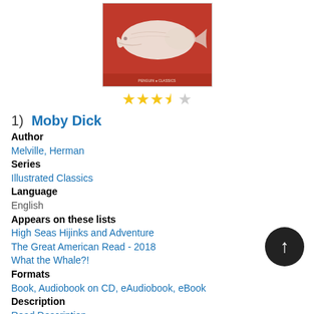[Figure (illustration): Book cover of Moby Dick - Penguin Illustrated Classics edition, white sperm whale on red background]
[Figure (other): Star rating: 3.5 out of 5 stars (3 filled, 1 half, 1 empty)]
1)  Moby Dick
Author
Melville, Herman
Series
Illustrated Classics
Language
English
Appears on these lists
High Seas Hijinks and Adventure
The Great American Read - 2018
What the Whale?!
Formats
Book, Audiobook on CD, eAudiobook, eBook
Description
Read Description